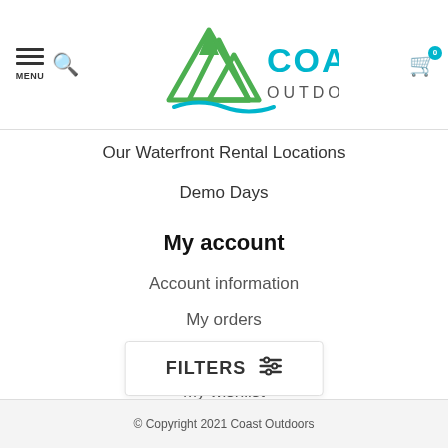[Figure (logo): Coast Outdoors logo with mountain/water SVG icon and teal text]
Our Waterfront Rental Locations
Demo Days
My account
Account information
My orders
My tickets
My wishlist
All products
FILTERS
© Copyright 2021 Coast Outdoors